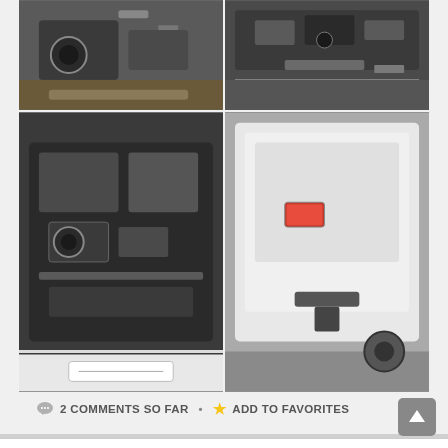[Figure (photo): Grid of four vehicle photos: top-left shows vehicle underside/frame in garage, top-right shows dashboard/controls, bottom-left shows engine bay with exposed engine and wiring, bottom-right shows rear of white vehicle with tail light]
2 COMMENTS SO FAR  •  ADD TO FAVORITES
1942 MB Oakland, Ca $5500
October 10, 2010 • CATEGORIES: MB • TAGS: Windshield.
Someone got creative with the windshield.
“1942 Jeep Willy $5500 Call for more info (415)720-7402”
http://sfbay.craigslist.org/eby/cto/1998748950.html